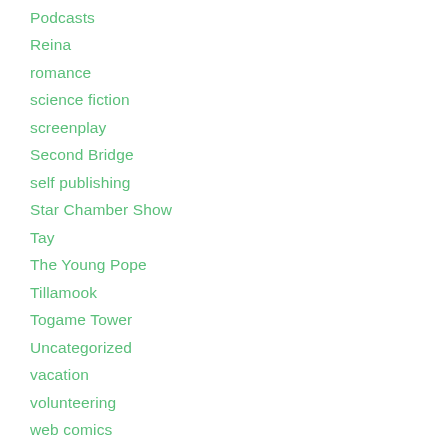Pirate Twins
Podcasts
Reina
romance
science fiction
screenplay
Second Bridge
self publishing
Star Chamber Show
Tay
The Young Pope
Tillamook
Togame Tower
Uncategorized
vacation
volunteering
web comics
Wide Awake